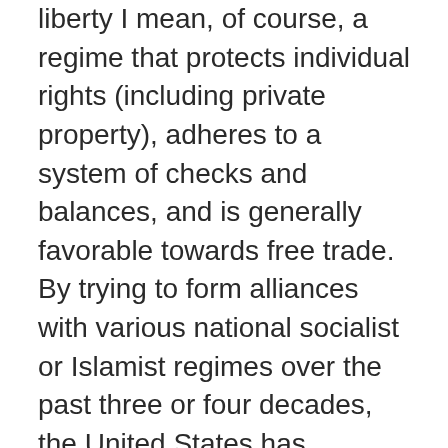liberty I mean, of course, a regime that protects individual rights (including private property), adheres to a system of checks and balances, and is generally favorable towards free trade. By trying to form alliances with various national socialist or Islamist regimes over the past three or four decades, the United States has continually shot itself in the foot. This is because Washington has made the simple mistake of confusing democracy for freedom.
If hawks are really concerned with helping other people (and it is not clear that they are), then it would be wise on their part to slow down and actually start looking at the